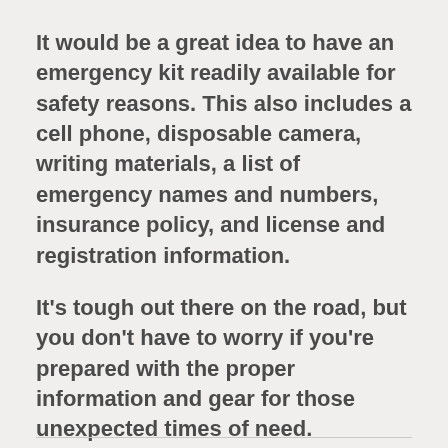It would be a great idea to have an emergency kit readily available for safety reasons. This also includes a cell phone, disposable camera, writing materials, a list of emergency names and numbers, insurance policy, and license and registration information.
It's tough out there on the road, but you don't have to worry if you're prepared with the proper information and gear for those unexpected times of need.
Auto Glass Brands & Models | 0 Comments